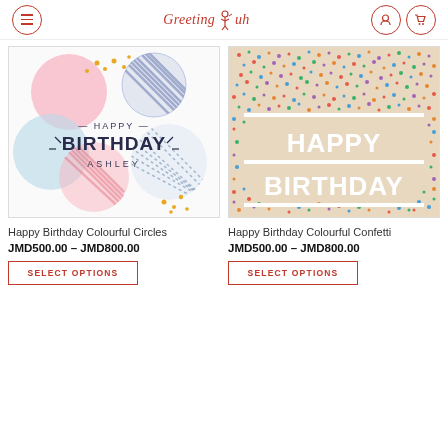GreetingYuh
[Figure (illustration): Happy Birthday Colourful Circles greeting card — pastel circles with patterns and 'Happy Birthday Ashley' text]
Happy Birthday Colourful Circles
JMD500.00 – JMD800.00
SELECT OPTIONS
[Figure (illustration): Happy Birthday Colourful Confetti greeting card — colorful confetti background with 'Happy Birthday' text]
Happy Birthday Colourful Confetti
JMD500.00 – JMD800.00
SELECT OPTIONS